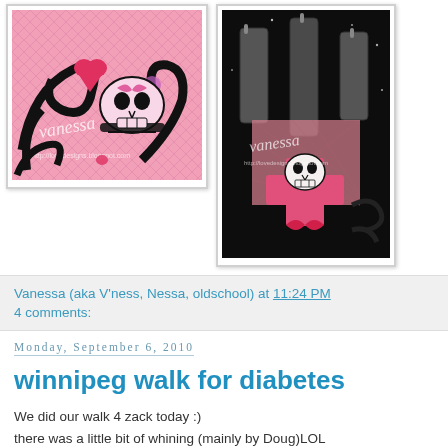[Figure (photo): Left photo: pink skull and crossbones craft artwork with 'vanessa' watermark, pink fishnet background, decorative swirls]
[Figure (photo): Right photo: black background with gray candles and pink skull cross craft artwork with 'vanessa' watermark]
Vanessa (aka V'ness, Nessa, oldschool) at 11:24 PM
4 comments:
Monday, September 6, 2010
winnipeg walk for diabetes
We did our walk 4 zack today :)
there was a little bit of whining (mainly by Doug)LOL